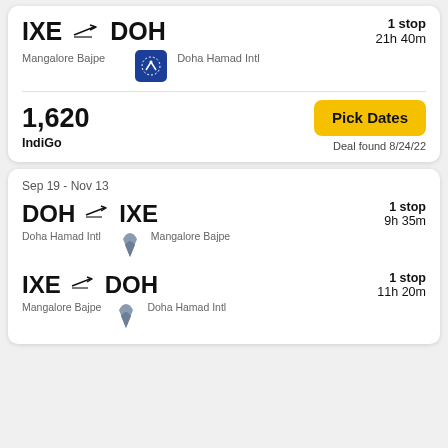[Figure (screenshot): Flight card 1: IXE to DOH, Mangalore Bajpe to Doha Hamad Intl, 1 stop, 21h 40m, IndiGo airline logo, price 1,620, Pick Dates button, Deal found 8/24/22]
IXE → DOH
Mangalore Bajpe  Doha Hamad Intl
1 stop
21h 40m
1,620
IndiGo
Pick Dates
Deal found 8/24/22
Sep 19 - Nov 13
DOH → IXE
Doha Hamad Intl  Mangalore Bajpe
1 stop
9h 35m
IXE → DOH
Mangalore Bajpe  Doha Hamad Intl
1 stop
11h 20m